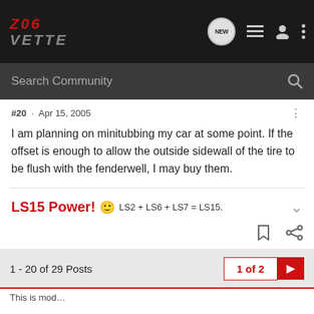[Figure (screenshot): Z06Vette forum website header with logo, navigation icons (NEW chat bubble, list, user, more), and search bar]
#20 · Apr 15, 2005
I am planning on minitubbing my car at some point. If the offset is enough to allow the outside sidewall of the tire to be flush with the fenderwell, I may buy them.
LS15 Power! 🙂 LS2 + LS6 + LS7 = LS15.
1 - 20 of 29 Posts
1 of 2